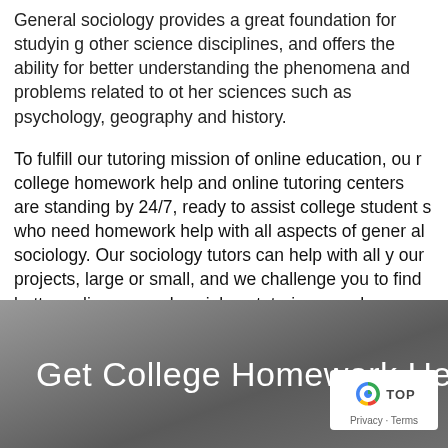General sociology provides a great foundation for studying other science disciplines, and offers the ability for better understanding the phenomena and problems related to other sciences such as psychology, geography and history.
To fulfill our tutoring mission of online education, our college homework help and online tutoring centers are standing by 24/7, ready to assist college students who need homework help with all aspects of general sociology. Our sociology tutors can help with all your projects, large or small, and we challenge you to find better online general sociology tutoring anywhere.
[Figure (photo): Dark grey/slate background image of a surface, with overlaid white text reading 'Get College Homework Hel...' and a reCAPTCHA badge in the bottom right corner showing a blue recycling-style arrow logo and 'Privacy · Terms' text.]